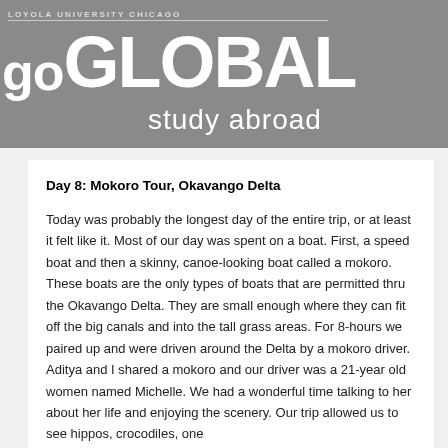[Figure (logo): Loyola University Chicago Go Global Study Abroad logo banner on grey background]
Day 8: Mokoro Tour, Okavango Delta
Today was probably the longest day of the entire trip, or at least it felt like it. Most of our day was spent on a boat. First, a speed boat and then a skinny, canoe-looking boat called a mokoro. These boats are the only types of boats that are permitted thru the Okavango Delta. They are small enough where they can fit off the big canals and into the tall grass areas. For 8-hours we paired up and were driven around the Delta by a mokoro driver. Aditya and I shared a mokoro and our driver was a 21-year old women named Michelle. We had a wonderful time talking to her about her life and enjoying the scenery. Our trip allowed us to see hippos, crocodiles, one